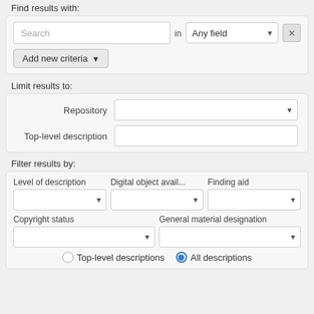Find results with:
[Figure (screenshot): Search form with a text input labeled 'Search', a dropdown labeled 'Any field', an X button, and an 'Add new criteria' button]
Limit results to:
[Figure (screenshot): Form with Repository dropdown and Top-level description text input]
Filter results by:
[Figure (screenshot): Filter form with dropdowns for Level of description, Digital object avail..., Finding aid, Copyright status, General material designation, and radio buttons for Top-level descriptions and All descriptions]